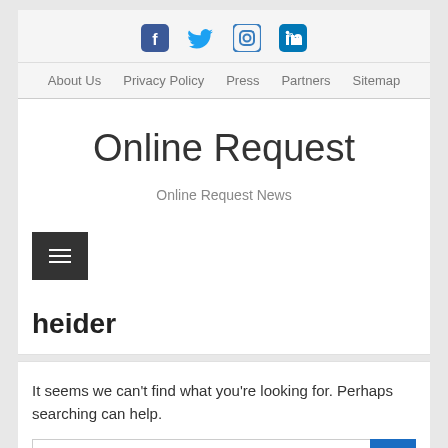[Figure (other): Social media icons: Facebook, Twitter, Instagram, LinkedIn]
About Us   Privacy Policy   Press   Partners   Sitemap
Online Request
Online Request News
[Figure (other): Hamburger menu button (three horizontal lines on dark background)]
heider
It seems we can't find what you're looking for. Perhaps searching can help.